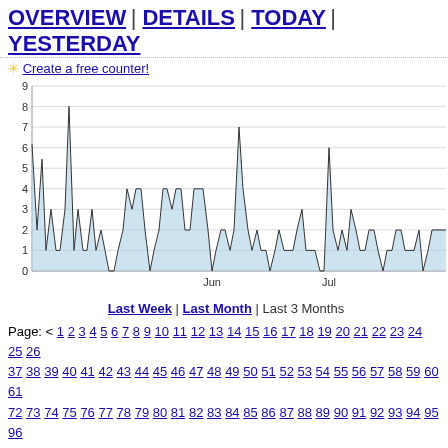OVERVIEW | DETAILS | TODAY | YESTERDAY
✳ Create a free counter!
[Figure (area-chart): Area chart showing daily visitor counts over approximately 3 months (May-Jul). Y-axis 0-9. Peaks around 8 in early May, 7 in mid-June, 6 in mid-July.]
Last Week | Last Month | Last 3 Months
Page: < 1 2 3 4 5 6 7 8 9 10 11 12 13 14 15 16 17 18 19 20 21 22 23 24 25 26 37 38 39 40 41 42 43 44 45 46 47 48 49 50 51 52 53 54 55 56 57 58 59 60 61 72 73 74 75 76 77 78 79 80 81 82 83 84 85 86 87 88 89 90 91 92 93 94 95 96
| Date | Visitors |
| --- | --- |
| May 15, 2019 | 12 |
| May 14, 2019 | 13 |